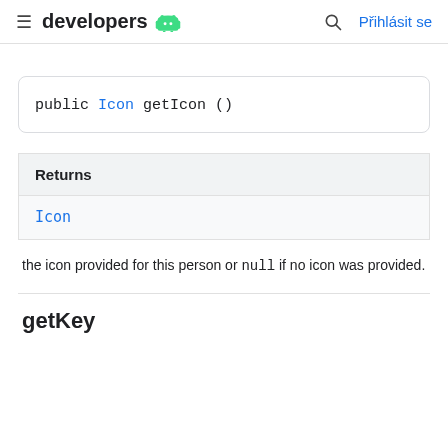developers | Přihlásit se
public Icon getIcon ()
| Returns |
| --- |
| Icon |
the icon provided for this person or null if no icon was provided.
getKey